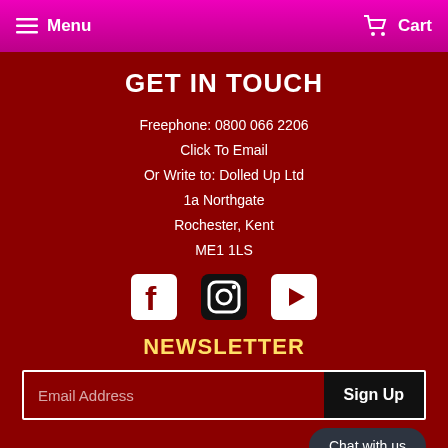Menu  Cart
GET IN TOUCH
Freephone: 0800 066 2206
Click To Email
Or Write to: Dolled Up Ltd
1a Northgate
Rochester, Kent
ME1 1LS
[Figure (other): Social media icons: Facebook, Instagram, YouTube]
NEWSLETTER
Email Address  Sign Up
Chat with us
Privacy Policy  Refunds & Delivery  Terms of Service